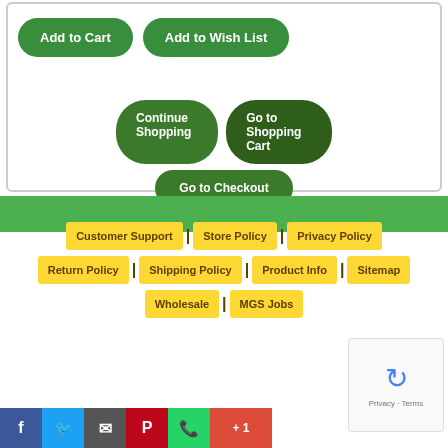[Figure (screenshot): E-commerce shopping cart page section showing Add to Cart, Add to Wish List buttons inside a bordered box, Continue Shopping, Go to Shopping Cart, and Go to Checkout green rounded buttons]
Customer Support
Store Policy
Privacy Policy
Return Policy
Shipping Policy
Product Info
Sitemap
Wholesale
MGS Jobs
Social sharing buttons: Facebook, Twitter, Email, Pinterest, WhatsApp, +1